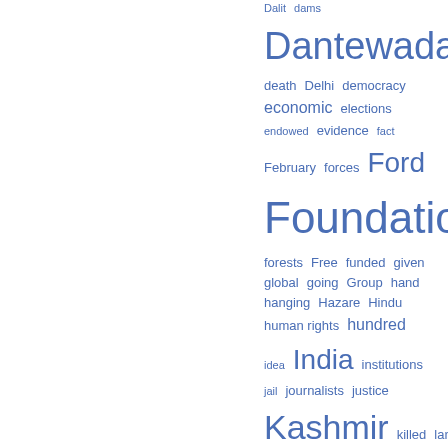[Figure (other): Word cloud showing terms in varying sizes and blue color. Words include: Dalit, dams, Dantewada, dead, death, Delhi, democracy, economic, elections, endowed, evidence, fact, February, forces, Ford Foundation, forests, Free, funded, given, global, going, Group, hand, hanging, Hazare, Hindu, human rights, hundred, idea, India, institutions, jail, journalists, justice, Kashmir, killed, land, liberal, Lingaram, live, look, major, manage, Maoists, March, means, militant, million, mining, minister]